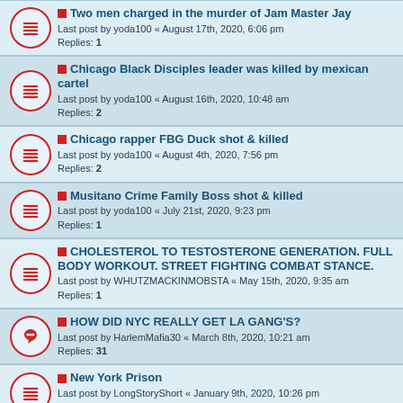Two men charged in the murder of Jam Master Jay
Last post by yoda100 « August 17th, 2020, 6:06 pm
Replies: 1
Chicago Black Disciples leader was killed by mexican cartel
Last post by yoda100 « August 16th, 2020, 10:48 am
Replies: 2
Chicago rapper FBG Duck shot & killed
Last post by yoda100 « August 4th, 2020, 7:56 pm
Replies: 2
Musitano Crime Family Boss shot & killed
Last post by yoda100 « July 21st, 2020, 9:23 pm
Replies: 1
CHOLESTEROL TO TESTOSTERONE GENERATION. FULL BODY WORKOUT. STREET FIGHTING COMBAT STANCE.
Last post by WHUTZMACKINMOBSTA « May 15th, 2020, 9:35 am
Replies: 1
HOW DID NYC REALLY GET LA GANG'S?
Last post by HarlemMafia30 « March 8th, 2020, 10:21 am
Replies: 31
New York Prison
Last post by LongStoryShort « January 9th, 2020, 10:26 pm
Replies: 3
WOOO VS CHO
Last post by LongStoryShort « January 9th, 2020, 5:26 am
NY Crips and Bloods as real as the LA gangs
Last post by OGRucc « December 16th, 2019, 1:51 pm
Replies: 14